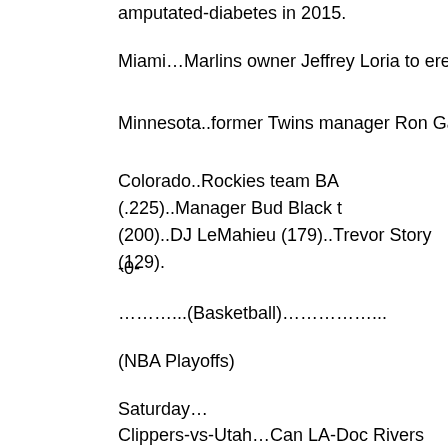amputated-diabetes in 2015.
Miami…Marlins owner Jeffrey Loria to erect statue to dec
Minnesota..former Twins manager Ron Gardenhire to ha
Colorado..Rockies team BA (.225)..Manager Bud Black t (200)..DJ LeMahieu (179)..Trevor Story (129).
-0-
………...(Basketball)……………...
(NBA Playoffs)
Saturday…
Clippers-vs-Utah…Can LA-Doc Rivers get beyond 2nd ro
San Antonio-Memphis..Spurs firepower come together
Cleveland-Indians…LeBron James-Paul George matchu
Toronto-Milwaukee…Raptors need hot spell.
Sunday..
Houston-Oklahoma City..James Harden (29P-11A)-vs-Ru scoring game.
Golden State-Portland…Kevin Durant back in lineup
Atlanta-Washington..How far can John Wall take Wizards